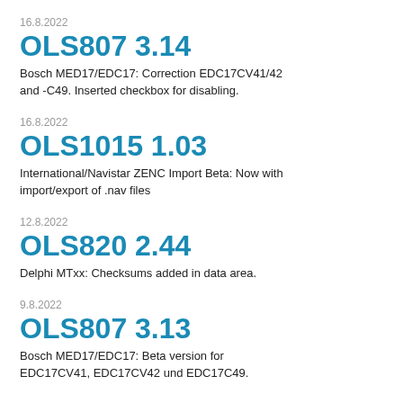16.8.2022
OLS807 3.14
Bosch MED17/EDC17: Correction EDC17CV41/42 and -C49. Inserted checkbox for disabling.
16.8.2022
OLS1015 1.03
International/Navistar ZENC Import Beta: Now with import/export of .nav files
12.8.2022
OLS820 2.44
Delphi MTxx: Checksums added in data area.
9.8.2022
OLS807 3.13
Bosch MED17/EDC17: Beta version for EDC17CV41, EDC17CV42 und EDC17C49.